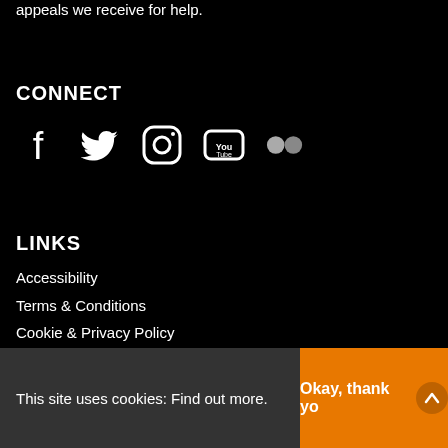appeals we receive for help.
CONNECT
[Figure (other): Social media icons: Facebook, Twitter, Instagram, YouTube, Flickr]
LINKS
Accessibility
Terms & Conditions
Cookie & Privacy Policy
Style Guide
This site uses cookies: Find out more.
Okay, thank you